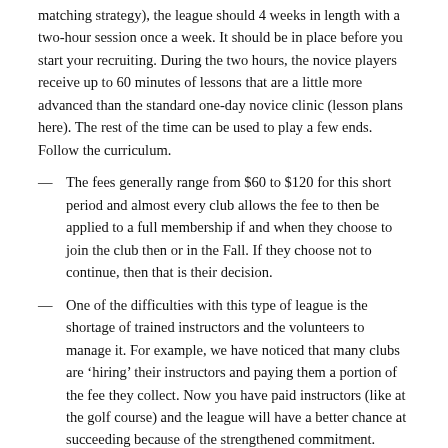matching strategy), the league should 4 weeks in length with a two-hour session once a week. It should be in place before you start your recruiting. During the two hours, the novice players receive up to 60 minutes of lessons that are a little more advanced than the standard one-day novice clinic (lesson plans here). The rest of the time can be used to play a few ends. Follow the curriculum.
The fees generally range from $60 to $120 for this short period and almost every club allows the fee to then be applied to a full membership if and when they choose to join the club then or in the Fall. If they choose not to continue, then that is their decision.
One of the difficulties with this type of league is the shortage of trained instructors and the volunteers to manage it. For example, we have noticed that many clubs are 'hiring' their instructors and paying them a portion of the fee they collect. Now you have paid instructors (like at the golf course) and the league will have a better chance at succeeding because of the strengthened commitment.
Hint: Be careful when you schedule this league. Giving them the worst time on your weekly calendar will not do much to help your image. If you have an evening slot or an